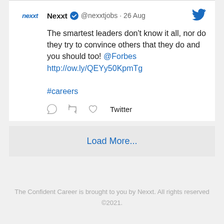[Figure (screenshot): Tweet from @nexxtjobs (Nexxt) dated 26 Aug: 'The smartest leaders don't know it all, nor do they try to convince others that they do and you should too! @Forbes http://ow.ly/QEYy50KpmTg #careers']
Load More...
The Confident Career is brought to you by Nexxt. All rights reserved ©2021.